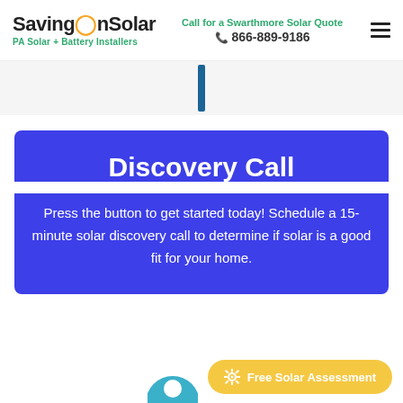SavingOnSolar PA Solar + Battery Installers | Call for a Swarthmore Solar Quote 866-889-9186
[Figure (other): Vertical blue divider bar]
Discovery Call
Press the button to get started today! Schedule a 15-minute solar discovery call to determine if solar is a good fit for your home.
[Figure (other): Free Solar Assessment button (yellow rounded pill) and partial avatar circle at bottom]